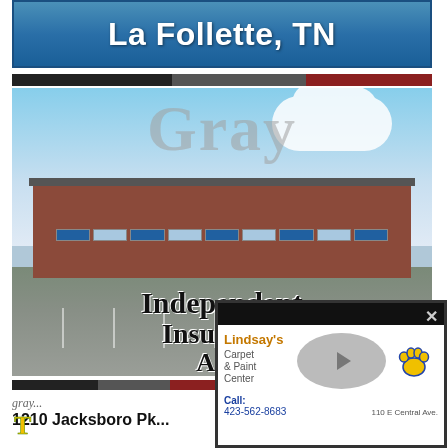La Follette, TN
[Figure (photo): Photo of Gray Independent Insurance Agency building exterior with brick facade, parking lot, blue sky with clouds. Overlaid with large 'Gray' watermark text and 'Independent Insurance Agency' text overlay.]
gray...
1210 Jacksboro Pk...
[Figure (screenshot): Popup ad for Lindsay's Carpet & Paint Center showing business name in orange, paw print logo, play button, Call: 423-562-6683, 110 E Central Ave.]